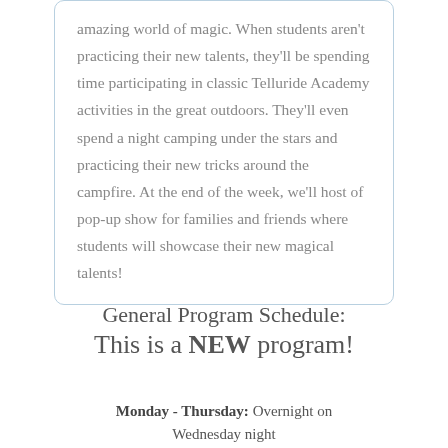amazing world of magic. When students aren't practicing their new talents, they'll be spending time participating in classic Telluride Academy activities in the great outdoors. They'll even spend a night camping under the stars and practicing their new tricks around the campfire. At the end of the week, we'll host of pop-up show for families and friends where students will showcase their new magical talents!
General Program Schedule: This is a NEW program!
Monday - Thursday: Overnight on Wednesday night